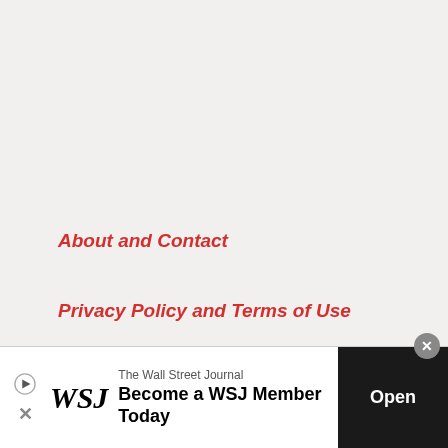About and Contact
Privacy Policy and Terms of Use
Email: jb.business.online@gmail.com
[Figure (other): Wall Street Journal advertisement banner with WSJ logo, text 'Become a WSJ Member Today', and an 'Open' button]